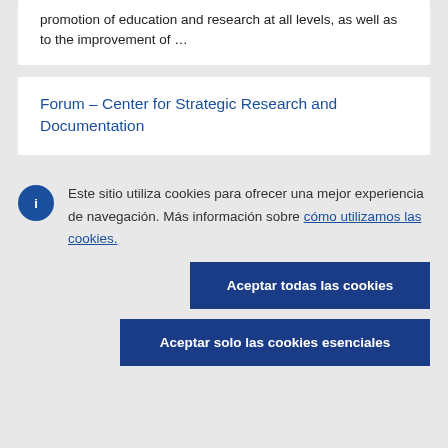promotion of education and research at all levels, as well as to the improvement of …
Forum – Center for Strategic Research and Documentation
Este sitio utiliza cookies para ofrecer una mejor experiencia de navegación. Más información sobre cómo utilizamos las cookies.
Aceptar todas las cookies
Aceptar solo las cookies esenciales